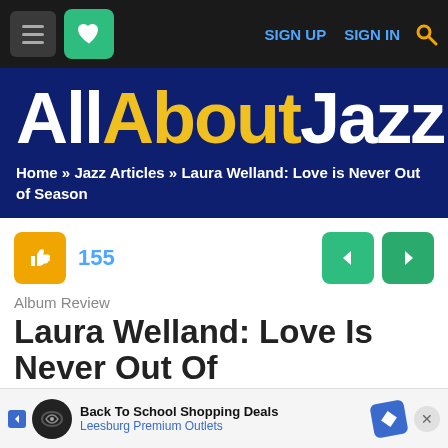AllAboutJazz — SIGN UP  SIGN IN
[Figure (logo): AllAboutJazz website logo in large bold text on dark navy background. 'All' in white, 'About' in yellow, 'Jazz' in white.]
Home » Jazz Articles » Laura Welland: Love is Never Out of Season
155
Album Review
Laura Welland: Love Is Never Out Of Season
[Figure (screenshot): Advertisement banner: Back To School Shopping Deals — Leesburg Premium Outlets]